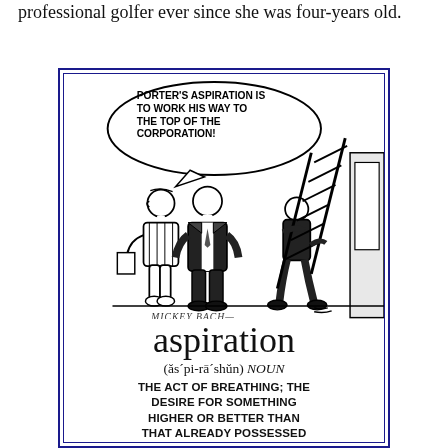professional golfer ever since she was four-years old.
[Figure (illustration): A cartoon by Mickey Bach showing two people standing and talking while a third person walks past carrying a ladder. A speech bubble reads 'PORTER'S ASPIRATION IS TO WORK HIS WAY TO THE TOP OF THE CORPORATION!' Below the cartoon is the word 'aspiration' with pronunciation (as'pi-ra'shun) NOUN and definition: THE ACT OF BREATHING; THE DESIRE FOR SOMETHING HIGHER OR BETTER THAN THAT ALREADY POSSESSED.]